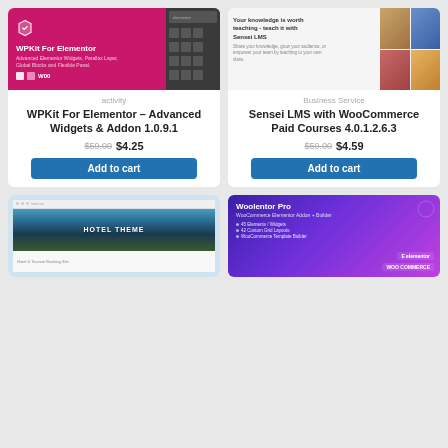[Figure (screenshot): WPKit For Elementor product card with pink banner showing logo and dark panel UI]
activity
WPKit For Elementor – Advanced Widgets & Addon 1.0.9.1
$59.00 $4.25
Add to cart
[Figure (screenshot): Sensei LMS product card with light banner showing tagline and classroom photo collage]
Business Service
Sensei LMS with WooCommerce Paid Courses 4.0.1.2.6.3
$59.00 $4.59
Add to cart
[Figure (screenshot): Hotel theme product card with website mockup showing tropical beach hotel]
[Figure (screenshot): Woolentor Pro product card with purple/violet gradient banner showing WooCommerce Elementor Addon + Builder]